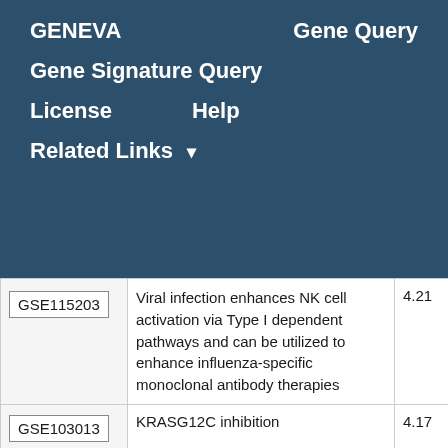GENEVA   Gene Query
Gene Signature Query
License   Help
Related Links ▾
| GSE115203 | Viral infection enhances NK cell activation via Type I dependent pathways and can be utilized to enhance influenza-specific monoclonal antibody therapies | 4.21 |
| GSE103013 | KRASG12C inhibition | 4.17 |